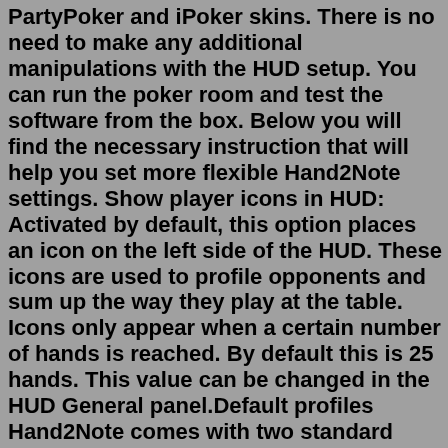PartyPoker and iPoker skins. There is no need to make any additional manipulations with the HUD setup. You can run the poker room and test the software from the box. Below you will find the necessary instruction that will help you set more flexible Hand2Note settings. Show player icons in HUD: Activated by default, this option places an icon on the left side of the HUD. These icons are used to profile opponents and sum up the way they play at the table. Icons only appear when a certain number of hands is reached. By default this is 25 hands. This value can be changed in the HUD General panel.Default profiles Hand2Note comes with two standard profiles of HUDs and popups – default and PokerMaster default. They contain a basic set of stats, sufficient for a confident game at the initial level. Track your poker statistics and avoid the sharks. SharkScope is the most complete database of poker tournament results available and covers virtually all online poker sites.May 14, 2009 · Category: add-on/package for Hand2Note More Information: